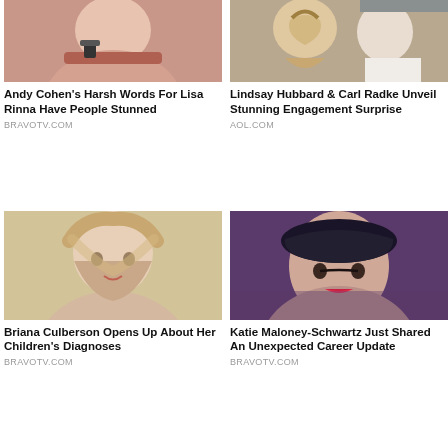[Figure (photo): Close-up of woman applying lipstick]
Andy Cohen's Harsh Words For Lisa Rinna Have People Stunned
BRAVOTV.COM
[Figure (photo): Woman with long blonde braided hair smiling with man in white shirt]
Lindsay Hubbard & Carl Radke Unveil Stunning Engagement Surprise
AOL.COM
[Figure (photo): Blonde woman with straight hair looking at camera indoors]
Briana Culberson Opens Up About Her Children's Diagnoses
BRAVOTV.COM
[Figure (photo): Woman wearing dark beret hat with red lipstick against purple background]
Katie Maloney-Schwartz Just Shared An Unexpected Career Update
BRAVOTV.COM